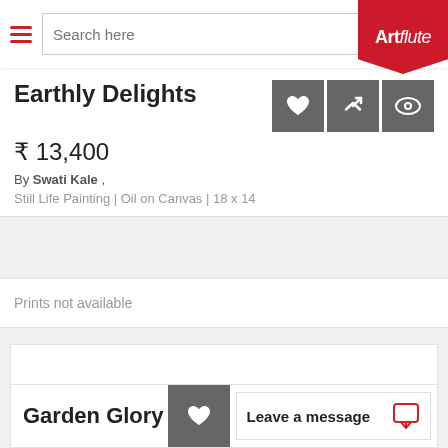Search here — Artflute
Earthly Delights
₹ 13,400
By Swati Kale ,
Still Life Painting | Oil on Canvas | 18 x 14
Prints not available
Loading...
Garden Glory
Leave a message